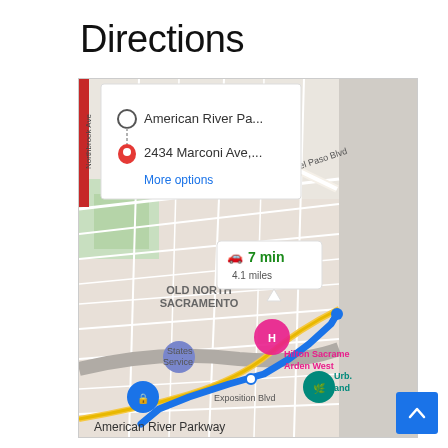Directions
[Figure (screenshot): Google Maps screenshot showing directions from American River Parkway to 2434 Marconi Ave, Sacramento. A popup shows route options: origin 'American River Pa...' and destination '2434 Marconi Ave,...' with a 'More options' link. A driving info bubble shows '7 min / 4.1 miles'. The map area shows OLD NORTH SACRAMENTO, Arcade Blvd, Del Paso Blvd, Exposition Blvd, Hilton Sacramento Arden West, and a blue route line. Bottom text reads 'American River Parkway'.]